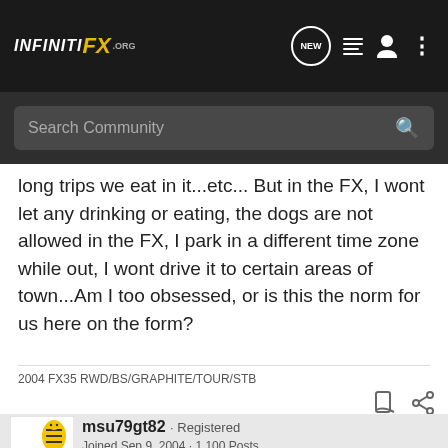INFINITI FX .ORG
long trips we eat in it...etc... But in the FX, I wont let any drinking or eating, the dogs are not allowed in the FX, I park in a different time zone while out, I wont drive it to certain areas of town...Am I too obsessed, or is this the norm for us here on the form?
2004 FX35 RWD/BS/GRAPHITE/TOUR/STB
msu79gt82 · Registered
Joined Sep 9, 2004 · 1,100 Posts